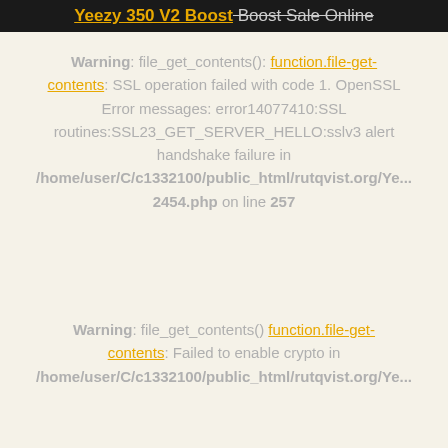Yeezy 350 V2 Boost Boost Sale Online
Warning: file_get_contents(): [function.file-get-contents] SSL operation failed with code 1. OpenSSL Error messages: error14077410:SSL routines:SSL23_GET_SERVER_HELLO:sslv3 alert handshake failure in /home/user/C/c1332100/public_html/rutqvist.org/Yee2454.php on line 257
Warning: file_get_contents() [function.file-get-contents]: Failed to enable crypto in /home/user/C/c1332100/public_html/rutqvist.org/Ye...